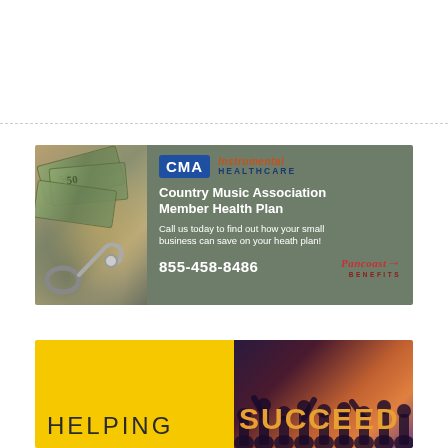[Figure (illustration): CMA Instrumental Healthcare advertisement banner. Left side shows photo of money bills and stethoscope. Right side has sage green background with CMA logo (blue box), 'Instrumental Healthcare' text in red/blue, bold white text 'Country Music Association Member Health Plan', call-to-action text, phone number 855-458-8486, and Pancoast Benefits logo.]
[Figure (illustration): Bottom advertisement banner with yellow left section showing 'HELPING' text and right section showing crowd silhouette with colorful lighting and partial 'SUCCEED' or similar text in orange.]